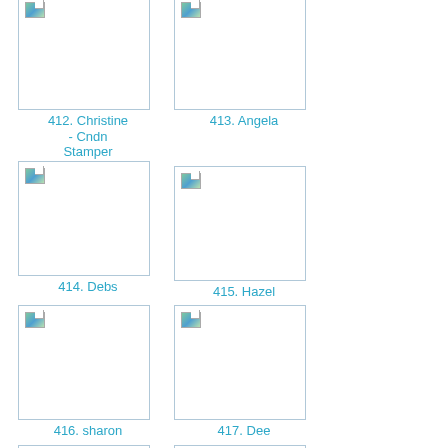[Figure (photo): Thumbnail image placeholder 412]
412. Christine - Cndn Stamper
[Figure (photo): Thumbnail image placeholder 413]
413. Angela
[Figure (photo): Thumbnail image placeholder 414]
414. Debs
[Figure (photo): Thumbnail image placeholder 415]
415. Hazel
[Figure (photo): Thumbnail image placeholder 416]
416. sharon
[Figure (photo): Thumbnail image placeholder 417]
417. Dee
[Figure (photo): Thumbnail image placeholder 418]
418. Samantha :0)
[Figure (photo): Thumbnail image placeholder 419]
419. chelle
[Figure (photo): Thumbnail image placeholder 420]
420. Lesley
[Figure (photo): Thumbnail image placeholder 421]
421. Barb
[Figure (photo): Thumbnail image placeholder 422]
422. Shelley
[Figure (photo): Thumbnail image placeholder 423]
423. Sarah